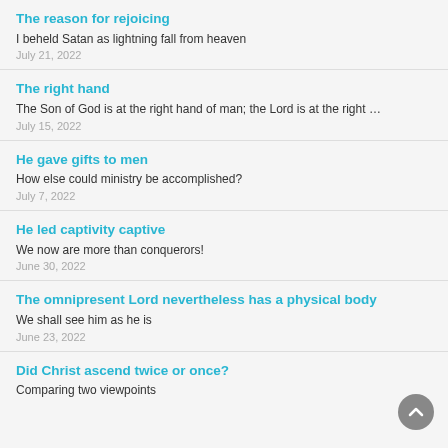The reason for rejoicing
I beheld Satan as lightning fall from heaven
July 21, 2022
The right hand
The Son of God is at the right hand of man; the Lord is at the right …
July 15, 2022
He gave gifts to men
How else could ministry be accomplished?
July 7, 2022
He led captivity captive
We now are more than conquerors!
June 30, 2022
The omnipresent Lord nevertheless has a physical body
We shall see him as he is
June 23, 2022
Did Christ ascend twice or once?
Comparing two viewpoints